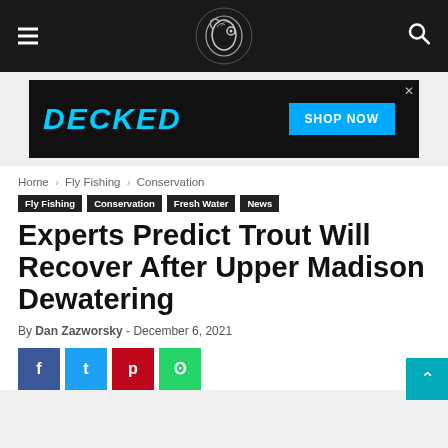Navigation bar with hamburger menu, logo, and search icon
[Figure (infographic): DECKED shop now advertisement banner]
Home › Fly Fishing › Conservation
Fly Fishing  Conservation  Fresh Water  News
Experts Predict Trout Will Recover After Upper Madison Dewatering
By Dan Zazworsky - December 6, 2021